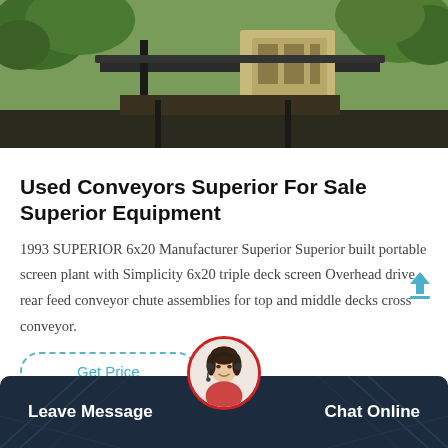[Figure (photo): Outdoor photo of industrial conveyor/screen plant machinery with trees in background]
Used Conveyors Superior For Sale Superior Equipment
1993 SUPERIOR 6x20 Manufacturer Superior Superior built portable screen plant with Simplicity 6x20 triple deck screen Overhead drive rear feed conveyor chute assemblies for top and middle decks cross conveyor.
Get Price
Leave Message   Chat Online